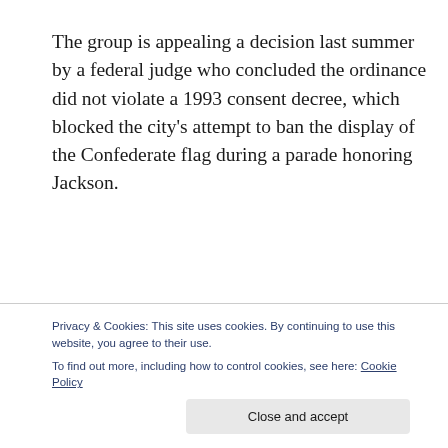The group is appealing a decision last summer by a federal judge who concluded the ordinance did not violate a 1993 consent decree, which blocked the city's attempt to ban the display of the Confederate flag during a parade honoring Jackson.
The 2011 ordinance does not restrict the flying of the flag elsewhere in the city
Privacy & Cookies: This site uses cookies. By continuing to use this website, you agree to their use.
To find out more, including how to control cookies, see here: Cookie Policy